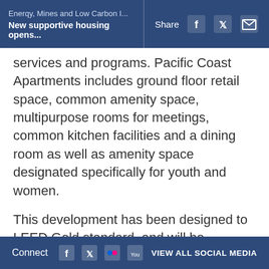Energy, Mines and Low Carbon I... | Share [social icons]
New supportive housing opens...
services and programs. Pacific Coast Apartments includes ground floor retail space, common amenity space, multipurpose rooms for meetings, common kitchen facilities and a dining room as well as amenity space designated specifically for youth and women.
This development has been designed to LEED Gold standard, and will be managed and operated by Coast Mental Health.
Coast Mental Health support staff work with residents to develop an individualized support plan and provide necessary support to ensure that...
Connect [social icons] VIEW ALL SOCIAL MEDIA